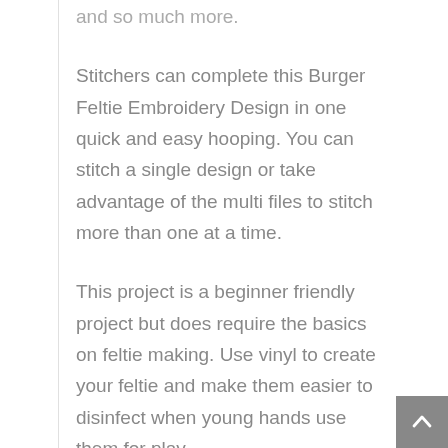and so much more.
Stitchers can complete this Burger Feltie Embroidery Design in one quick and easy hooping. You can stitch a single design or take advantage of the multi files to stitch more than one at a time.
This project is a beginner friendly project but does require the basics on feltie making. Use vinyl to create your feltie and make them easier to disinfect when young hands use them for play.
Our Facebook Fan Group is a great resource for help and support if needed!